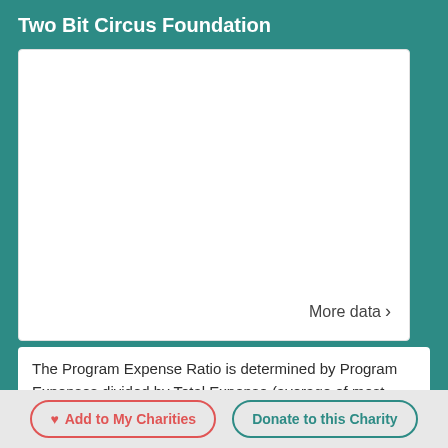Two Bit Circus Foundation
[Figure (other): Empty white content box with 'More data >' link in bottom-right corner]
The Program Expense Ratio is determined by Program Expenses divided by Total Expense (average of most recent three 990s). This measure
Add to My Charities   Donate to this Charity